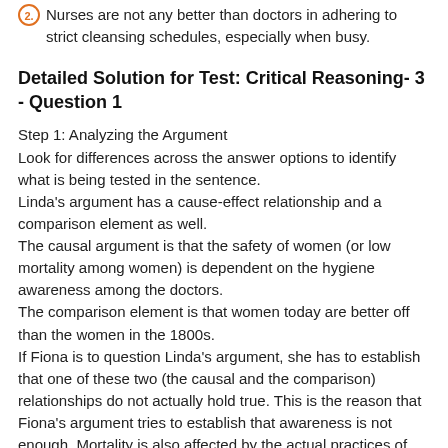2. Nurses are not any better than doctors in adhering to strict cleansing schedules, especially when busy.
Detailed Solution for Test: Critical Reasoning- 3 - Question 1
Step 1: Analyzing the Argument
Look for differences across the answer options to identify what is being tested in the sentence.
Linda's argument has a cause-effect relationship and a comparison element as well.
The causal argument is that the safety of women (or low mortality among women) is dependent on the hygiene awareness among the doctors.
The comparison element is that women today are better off than the women in the 1800s.
If Fiona is to question Linda's argument, she has to establish that one of these two (the causal and the comparison) relationships do not actually hold true. This is the reason that Fiona's argument tries to establish that awareness is not enough. Mortality is also affected by the actual practices of the doctors.
To further weaken Linda's argument, the correct answer Option...